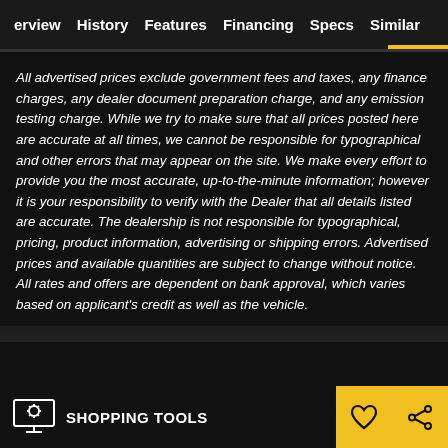erview  History  Features  Financing  Specs  Similar
All advertised prices exclude government fees and taxes, any finance charges, any dealer document preparation charge, and any emission testing charge. While we try to make sure that all prices posted here are accurate at all times, we cannot be responsible for typographical and other errors that may appear on the site. We make every effort to provide you the most accurate, up-to-the-minute information; however it is your responsibility to verify with the Dealer that all details listed are accurate. The dealership is not responsible for typographical, pricing, product information, advertising or shipping errors. Advertised prices and available quantities are subject to change without notice. All rates and offers are dependent on bank approval, which varies based on applicant's credit as well as the vehicle.
SHOPPING TOOLS